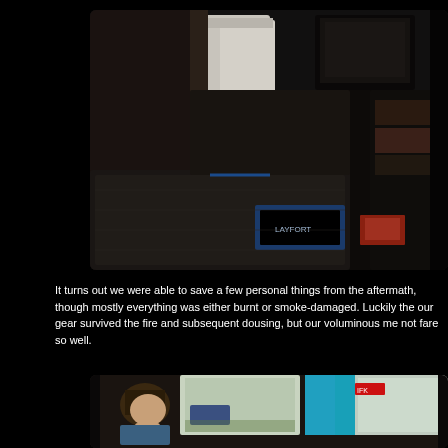[Figure (photo): Interior of a vehicle or bus showing dark leather seats, items scattered on the seats including what appears to be magazines or packages, with a television visible in the background. The scene shows fire/smoke damage with scorched elements.]
It turns out we were able to save a few personal things from the aftermath, though mostly everything was either burnt or smoke-damaged. Luckily the our gear survived the fire and subsequent dousing, but our voluminous me not fare so well.
[Figure (photo): Interior shot showing a person sitting inside what appears to be a vehicle or bus, with windows visible showing an outdoor parking lot scene in the background. The person appears to have long hair and is resting their chin on their hand.]